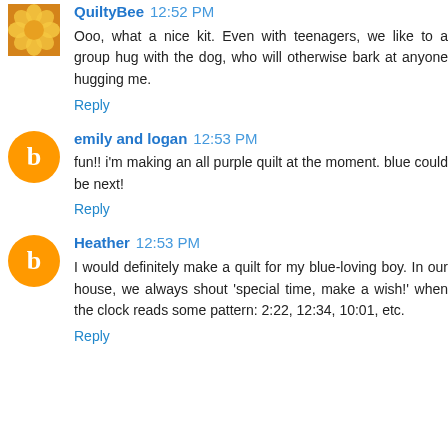QuiltyBee 12:52 PM
Ooo, what a nice kit. Even with teenagers, we like to a group hug with the dog, who will otherwise bark at anyone hugging me.
Reply
emily and logan 12:53 PM
fun!! i'm making an all purple quilt at the moment. blue could be next!
Reply
Heather 12:53 PM
I would definitely make a quilt for my blue-loving boy. In our house, we always shout 'special time, make a wish!' when the clock reads some pattern: 2:22, 12:34, 10:01, etc.
Reply